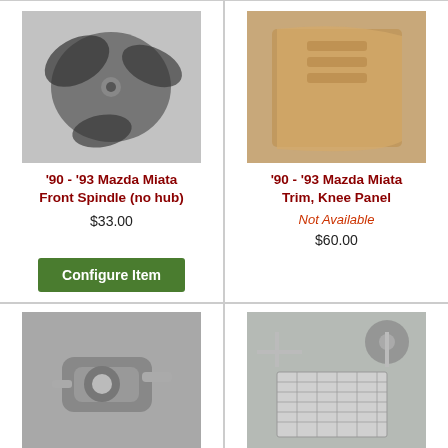[Figure (photo): Black fan blade / spindle part on gray surface]
'90 - '93 Mazda Miata Front Spindle (no hub)
$33.00
[Figure (photo): Tan/beige knee panel trim piece on concrete]
'90 - '93 Mazda Miata Trim, Knee Panel
Not Available
$60.00
[Figure (photo): Silver brake caliper part on white background]
'90 – '93 Mazda...
[Figure (photo): AC condenser and cooling fan assembly parts laid out]
'90 – '93 Ma...